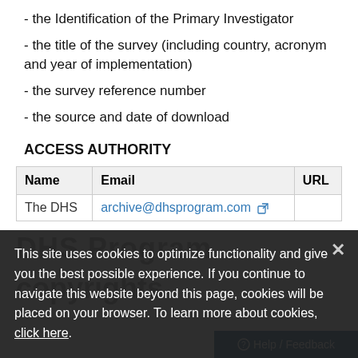- the Identification of the Primary Investigator
- the title of the survey (including country, acronym and year of implementation)
- the survey reference number
- the source and date of download
ACCESS AUTHORITY
| Name | Email | URL |
| --- | --- | --- |
| The DHS | archive@dhsprogram.com |  |
This site uses cookies to optimize functionality and give you the best possible experience. If you continue to navigate this website beyond this page, cookies will be placed on your browser. To learn more about cookies, click here.